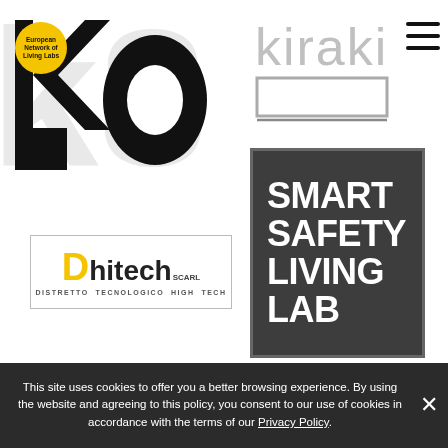[Figure (logo): Large 'k8' styled logo in black with partial letterforms, top-left area of the page]
[Figure (logo): Kiraki logo in light gray text with a rectangular frame underline, top-right area]
[Figure (logo): ENoLL - European Network of Living Labs yellow circular badge]
[Figure (logo): Dhitech SCARL logo - Distretto Tecnologico High Tech, with yellow D and gray text in a bordered box]
[Figure (logo): Smart Safety Living Lab logo - white bold text on dark gray background in a bordered rectangle]
This site uses cookies to offer you a better browsing experience. By using the website and agreeing to this policy, you consent to our use of cookies in accordance with the terms of our Privacy Policy.